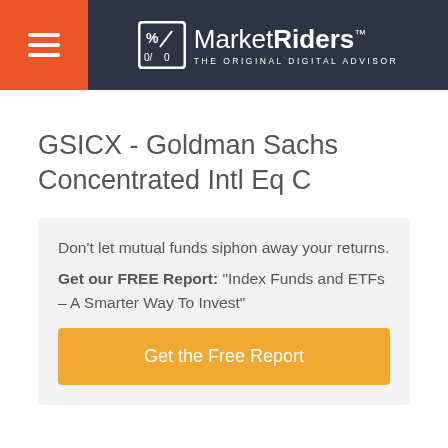MarketRiders — THE ORIGINAL DIGITAL ADVISOR
GSICX - Goldman Sachs Concentrated Intl Eq C
Don't let mutual funds siphon away your returns.
Get our FREE Report: "Index Funds and ETFs – A Smarter Way To Invest"
Get the Free Report